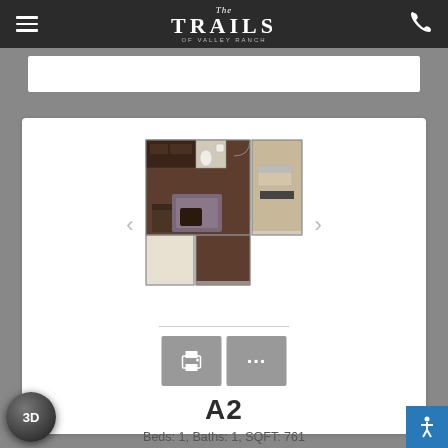The Trails of Valley Ranch
[Figure (illustration): 2D floor plan showing a 1 bedroom, 1 bathroom apartment layout (A2) with dark wood floors, living area, bedroom, bathroom, and kitchen visible from overhead view]
A2
Beds: 1, Baths: 1, SQFT: 761
$1,434 – $1,629